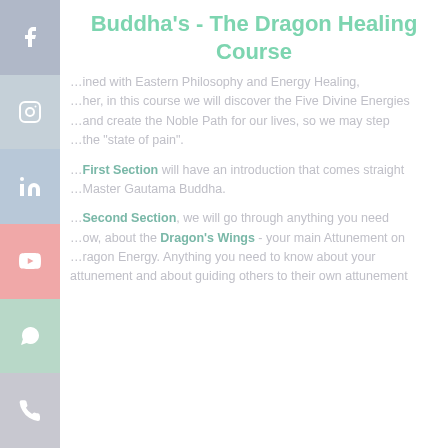Buddha's - The Dragon Healing Course
…ined with Eastern Philosophy and Energy Healing, …her, in this course we will discover the Five Divine Energies …and create the Noble Path for our lives, so we may step …the "state of pain".
…First Section will have an introduction that comes straight …Master Gautama Buddha.
…Second Section, we will go through anything you need …ow, about the Dragon's Wings - your main Attunement on …ragon Energy. Anything you need to know about your attunement and about guiding others to their own attunement …